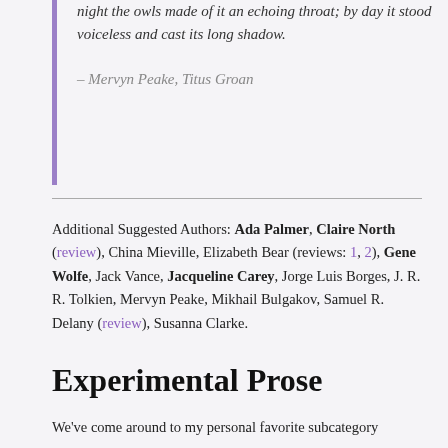night the owls made of it an echoing throat; by day it stood voiceless and cast its long shadow.

– Mervyn Peake, Titus Groan
Additional Suggested Authors: Ada Palmer, Claire North (review), China Mieville, Elizabeth Bear (reviews: 1, 2), Gene Wolfe, Jack Vance, Jacqueline Carey, Jorge Luis Borges, J. R. R. Tolkien, Mervyn Peake, Mikhail Bulgakov, Samuel R. Delany (review), Susanna Clarke.
Experimental Prose
We've come around to my personal favorite subcategory